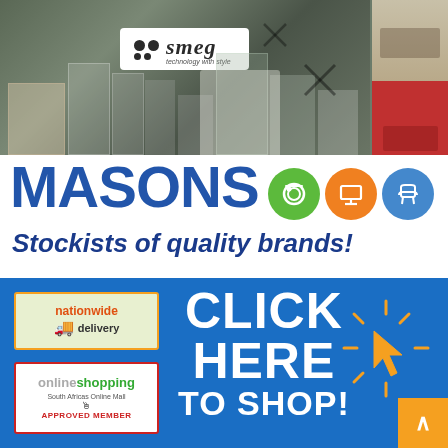[Figure (photo): Store display showing Smeg branded appliances showroom with kitchen appliances, and a side panel showing colorful kitchen interior]
MASONS
Stockists of quality brands!
[Figure (infographic): Blue banner with 'CLICK HERE TO SHOP!' call to action, nationwide delivery badge, online shopping approved member badge, and cursor icon]